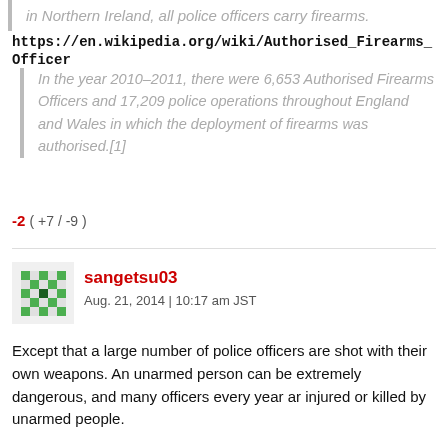in Northern Ireland, all police officers carry firearms.
https://en.wikipedia.org/wiki/Authorised_Firearms_Officer
In the year 2010–2011, there were 6,653 Authorised Firearms Officers and 17,209 police operations throughout England and Wales in which the deployment of firearms was authorised.[1]
-2 ( +7 / -9 )
sangetsu03
Aug. 21, 2014 | 10:17 am JST
Except that a large number of police officers are shot with their own weapons. An unarmed person can be extremely dangerous, and many officers every year ar injured or killed by unarmed people.
I was once a police officer, and my very first arrest was on a Christmas evening. The suspect was a 30 year old drunk woman who was threatening her neighbors, and kicking cars in the street. She was 5 feet tall, and weighed a little over 100 pounds, but she was very violent, and would not be subdued. I had just left the Army after 6 years of service, and having a relevant this at me came about...